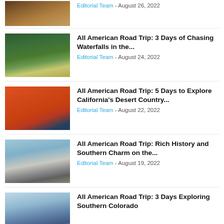[Figure (photo): Partial view of canyon river landscape photo]
Editorial Team - August 26, 2022
All American Road Trip: 3 Days of Chasing Waterfalls in the...
Editorial Team - August 24, 2022
[Figure (photo): Aerial view of forest with waterfall and river]
All American Road Trip: 5 Days to Explore California's Desert Country...
Editorial Team - August 22, 2022
[Figure (photo): Desert landscape with pink and red mountain sunset and Joshua trees]
All American Road Trip: Rich History and Southern Charm on the...
Editorial Team - August 19, 2022
[Figure (photo): Bridge over calm water with cloudy sky]
All American Road Trip: 3 Days Exploring Southern Colorado
[Figure (photo): Mountain landscape with snow-capped peaks and cloudy sky]